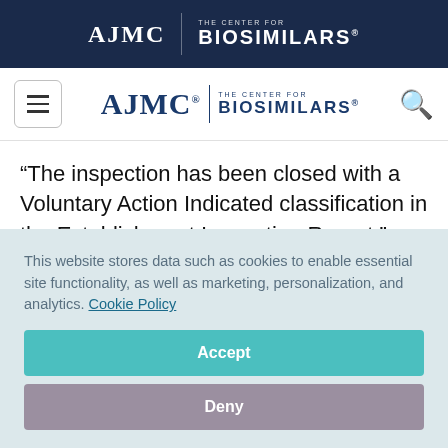AJMC | THE CENTER FOR BIOSIMILARS
[Figure (logo): AJMC The Center for Biosimilars logo in navigation bar]
“The inspection has been closed with a Voluntary Action Indicated classification in the Establishment Inspection Report,” Biocon said in a release.
This website stores data such as cookies to enable essential site functionality, as well as marketing, personalization, and analytics. Cookie Policy
Accept
Deny